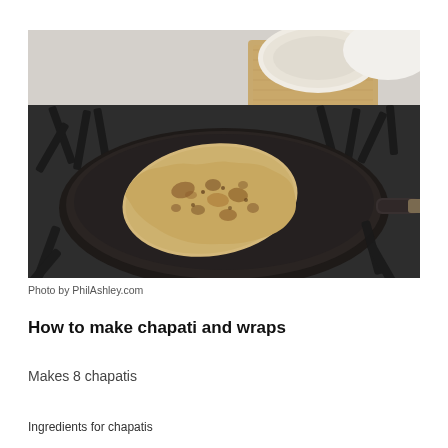[Figure (photo): A chapati flatbread cooking on a large round black cast-iron griddle pan on a gas stove. In the background there is a white bowl and a wooden cutting board.]
Photo by PhilAshley.com
How to make chapati and wraps
Makes 8 chapatis
Ingredients for chapatis